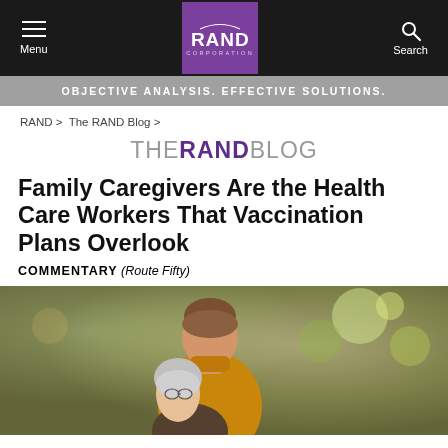Menu | RAND Corporation | Search
OBJECTIVE ANALYSIS. EFFECTIVE SOLUTIONS.
RAND > The RAND Blog >
THE RAND BLOG
Family Caregivers Are the Health Care Workers That Vaccination Plans Overlook
COMMENTARY (Route Fifty)
[Figure (photo): A younger woman in a yellow/mustard turtleneck sweater helping an elderly person outdoors with blurred green trees in the background.]